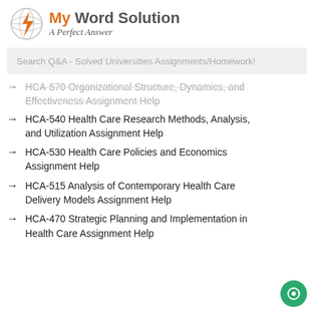[Figure (logo): My Word Solution logo with globe/lightning bolt icon and tagline 'A Perfect Answer']
Search Q&A - Solved Universities Assignments/Homework!
HCA-570 Organizational Structure, Dynamics, and Effectiveness Assignment Help (partial)
HCA-540 Health Care Research Methods, Analysis, and Utilization Assignment Help
HCA-530 Health Care Policies and Economics Assignment Help
HCA-515 Analysis of Contemporary Health Care Delivery Models Assignment Help
HCA-470 Strategic Planning and Implementation in Health Care Assignment Help